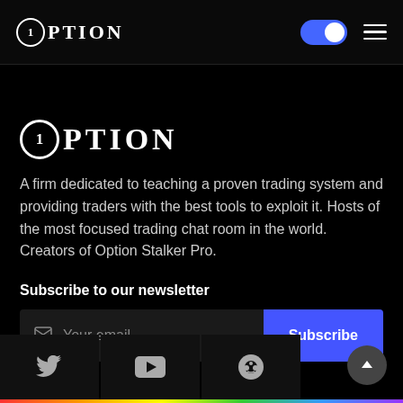1Option
1Option
A firm dedicated to teaching a proven trading system and providing traders with the best tools to exploit it. Hosts of the most focused trading chat room in the world. Creators of Option Stalker Pro.
Subscribe to our newsletter
Your email | Subscribe
Twitter | YouTube | Reddit social icons